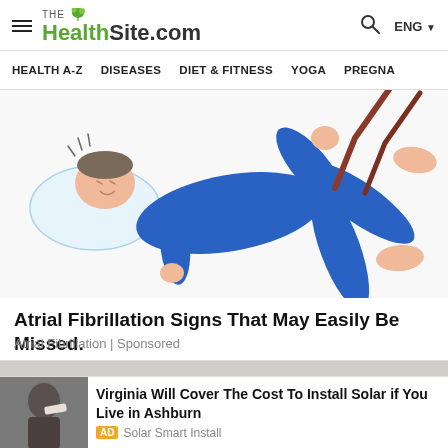THE HealthSite.com | HEALTH A-Z | DISEASES | DIET & FITNESS | YOGA | PREGNA
[Figure (illustration): Illustration of a person in blue pajamas lying down, appearing to have a seizure or muscle spasm, with legs raised, on a white pillow/bed background]
Atrial Fibrillation Signs That May Easily Be Missed.
Atrial Fibrillation | Sponsored
[Figure (photo): Partial photo of an elderly person with grey curly hair, cropped — only top of head visible]
[Figure (photo): Ad thumbnail: person in distress, man with towel]
Virginia Will Cover The Cost To Install Solar if You Live in Ashburn
AD Solar Smart Install